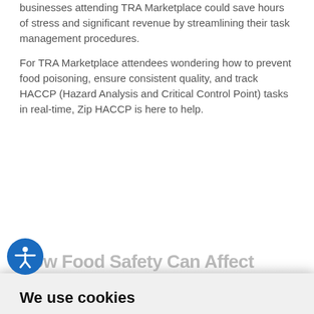businesses attending TRA Marketplace could save hours of stress and significant revenue by streamlining their task management procedures.
For TRA Marketplace attendees wondering how to prevent food poisoning, ensure consistent quality, and track HACCP (Hazard Analysis and Critical Control Point) tasks in real-time, Zip HACCP is here to help.
How Food Safety Can Affect
We use cookies
We use cookies and other tracking technologies to improve your browsing experience on our website, to show you personalized content and targeted ads, to analyze our website traffic, and to understand where our visitors are coming from.
I agree   Change my preferences